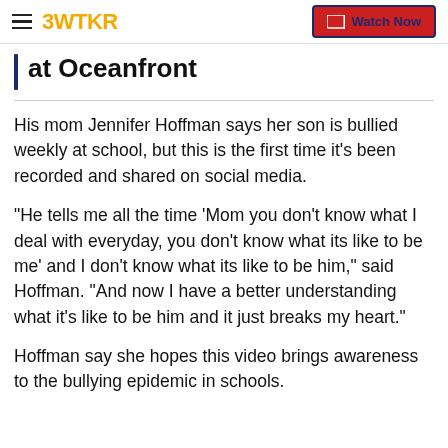3WTKR | Watch Now
at Oceanfront
His mom Jennifer Hoffman says her son is bullied weekly at school, but this is the first time it's been recorded and shared on social media.
"He tells me all the time 'Mom you don't know what I deal with everyday, you don't know what its like to be me' and I don't know what its like to be him," said Hoffman. "And now I have a better understanding what it's like to be him and it just breaks my heart."
Hoffman say she hopes this video brings awareness to the bullying epidemic in schools.